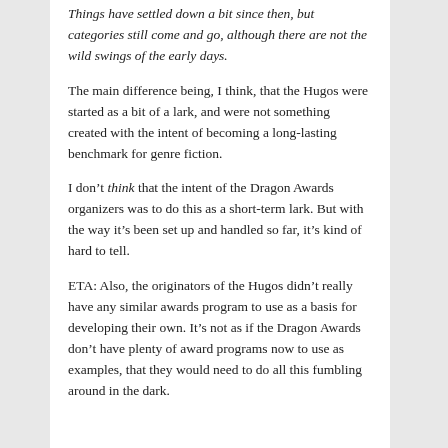Things have settled down a bit since then, but categories still come and go, although there are not the wild swings of the early days.
The main difference being, I think, that the Hugos were started as a bit of a lark, and were not something created with the intent of becoming a long-lasting benchmark for genre fiction.
I don’t think that the intent of the Dragon Awards organizers was to do this as a short-term lark. But with the way it’s been set up and handled so far, it’s kind of hard to tell.
ETA: Also, the originators of the Hugos didn’t really have any similar awards program to use as a basis for developing their own. It’s not as if the Dragon Awards don’t have plenty of award programs now to use as examples, that they would need to do all this fumbling around in the dark.